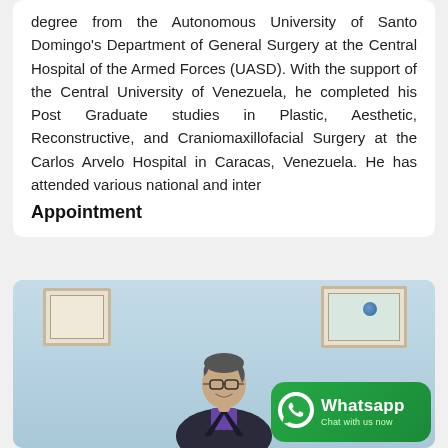degree from the Autonomous University of Santo Domingo's Department of General Surgery at the Central Hospital of the Armed Forces (UASD). With the support of the Central University of Venezuela, he completed his Post Graduate studies in Plastic, Aesthetic, Reconstructive, and Craniomaxillofacial Surgery at the Carlos Arvelo Hospital in Caracas, Venezuela. He has attended various national and inter
Appointment
[Figure (photo): Photo of a male doctor sitting at a desk, smiling, wearing glasses and a dark blazer over a purple shirt. Behind him on a light blue wall are two framed certificates/diplomas. A WhatsApp chat badge overlay appears in the bottom right corner.]